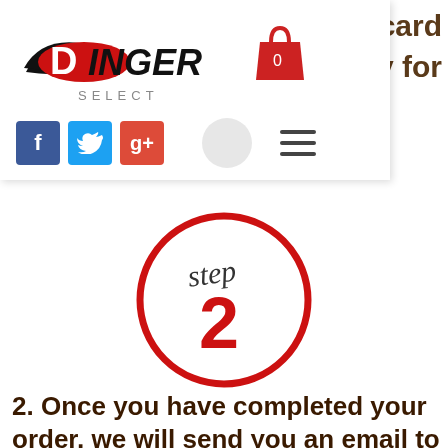[Figure (logo): Dinger Select logo with red and black swoosh design and shopping cart icon]
[Figure (infographic): Step 2 circle indicator with handwritten 'step' and bold red numeral 2]
2. Once you have completed your order, we will send you an email to fill out information for the FRONT AND BACK of the card  When sending back information let us know which organization you are with and we will place the